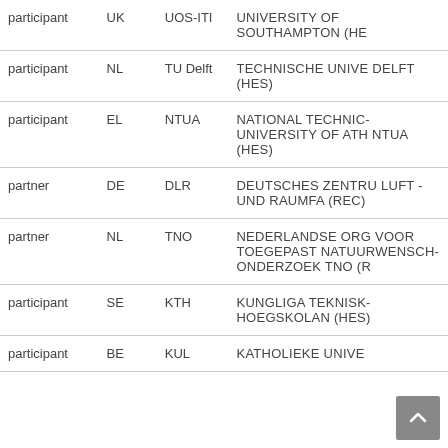| Role | Country | Short name | Organisation |
| --- | --- | --- | --- |
| participant | UK | UOS-ITI | UNIVERSITY OF SOUTHAMPTON (HE… |
| participant | NL | TU Delft | TECHNISCHE UNIVE… DELFT (HES) |
| participant | EL | NTUA | NATIONAL TECHNIC… UNIVERSITY OF ATH… NTUA (HES) |
| partner | DE | DLR | DEUTSCHES ZENTRU… LUFT - UND RAUMFA… (REC) |
| partner | NL | TNO | NEDERLANDSE ORG… VOOR TOEGEPAST NATUURWENSCH… ONDERZOEK TNO (R… |
| participant | SE | KTH | KUNGLIGA TEKNISK… HOEGSKOLAN (HES) |
| participant | BE | KUL | KATHOLIEKE UNIVE… |